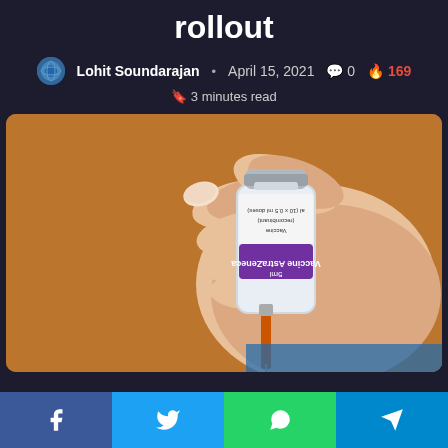rollout
Lohit Soundarajan • April 15, 2021 💬 0 🔥 169
🔖 3 minutes read
[Figure (photo): A hand holding an AstraZeneca vaccine vial with a syringe attached, showing the purple label reading 'Vaccine AstraZeneca 5ml' with text '10 x 0.5 ml doses' and '(recombinant)'. Orange syringe visible below.]
Share buttons: Facebook, Twitter, WhatsApp, Telegram